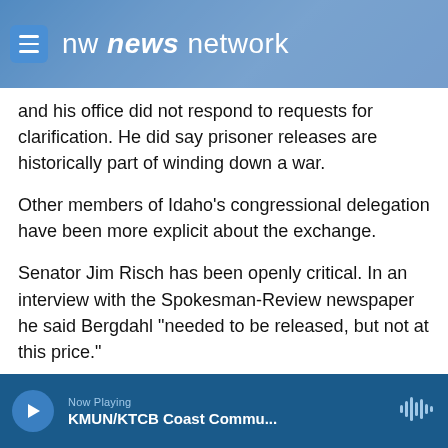[Figure (screenshot): NW News Network website header with logo and mountain background image]
and his office did not respond to requests for clarification. He did say prisoner releases are historically part of winding down a war.
Other members of Idaho's congressional delegation have been more explicit about the exchange.
Senator Jim Risch has been openly critical. In an interview with the Spokesman-Review newspaper he said Bergdahl "needed to be released, but not at this price."
His Senate colleague Mike Crapo has also spoken
Now Playing KMUN/KTCB Coast Commu...